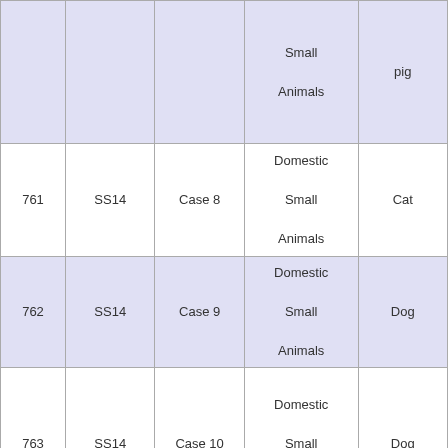|  |  |  | Small Animals | pig |
| 761 | SS14 | Case 8 | Domestic Small Animals | Cat |
| 762 | SS14 | Case 9 | Domestic Small Animals | Dog |
| 763 | SS14 | Case 10 | Domestic Small Animals | Dog |
| 764 | SS14 | Case 11 | Domestic Small Animals | Dog |
| 765 | SS14 | Case 12 | Domestic |  |